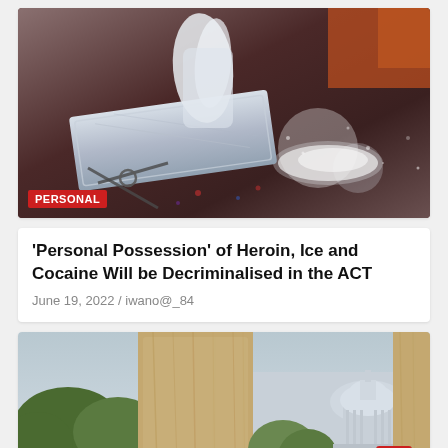[Figure (photo): Photo of wrapped drug bricks and white powder on a dark colorful surface with scissors]
PERSONAL
'Personal Possession' of Heroin, Ice and Cocaine Will be Decriminalised in the ACT
June 19, 2022 / iwano@_84
[Figure (photo): Photo showing wooden panels and the US Capitol building in the background with trees]